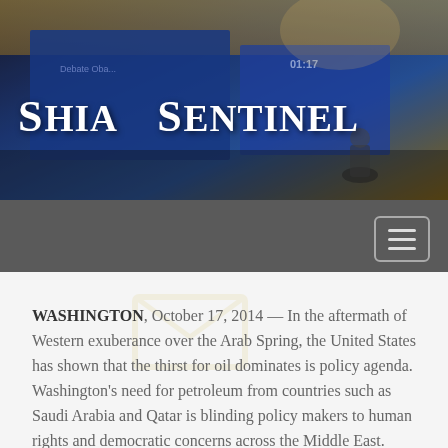[Figure (photo): Header image showing a debate stage or conference room with blue screens/banners in the background, warm overhead lighting, and a website banner overlay with the site title 'Shia Sentinel' and tagline 'We can't deny']
Shia Sentinel
We can't deny
[Figure (other): Dark grey navigation bar with a hamburger menu button (three horizontal lines) in top right]
WASHINGTON, October 17, 2014 — In the aftermath of Western exuberance over the Arab Spring, the United States has shown that the thirst for oil dominates is policy agenda. Washington's need for petroleum from countries such as Saudi Arabia and Qatar is blinding policy makers to human rights and democratic concerns across the Middle East. American dream of freedom and democracy has motivated and attracted millions of immigrants to our country. Our policy toward democracy is bright and clear. As a result of the forefather's enlightened thinking, we now enjoy the freedoms